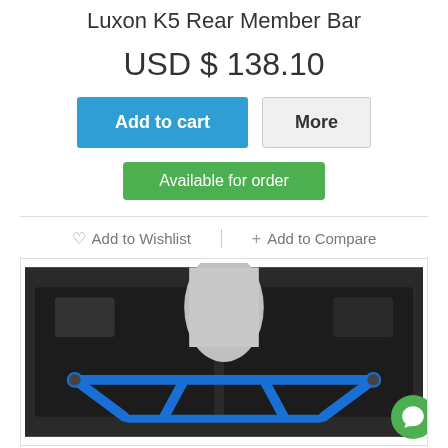Luxon K5 Rear Member Bar
USD $ 138.10
Add to cart | More
Available for order
♡ Add to Wishlist   + Add to Compare
[Figure (photo): Undercarriage view of a car showing a blue metal rear member bar brace installed beneath the vehicle.]